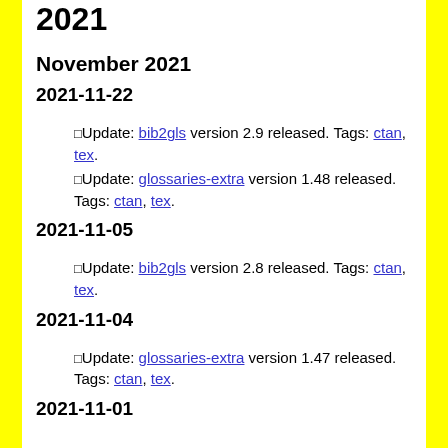2021
November 2021
2021-11-22
Update: bib2gls version 2.9 released. Tags: ctan, tex.
Update: glossaries-extra version 1.48 released. Tags: ctan, tex.
2021-11-05
Update: bib2gls version 2.8 released. Tags: ctan, tex.
2021-11-04
Update: glossaries-extra version 1.47 released. Tags: ctan, tex.
2021-11-01